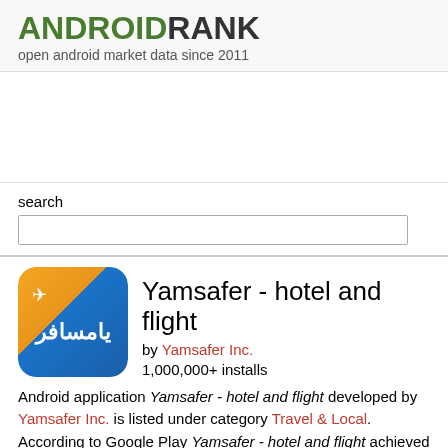ANDROIDRANK
open android market data since 2011
search
[Figure (screenshot): Search input box]
[Figure (illustration): Yamsafer app icon - blue square with Arabic text and airplane]
Yamsafer - hotel and flight
by Yamsafer Inc.
1,000,000+ installs
Android application Yamsafer - hotel and flight developed by Yamsafer Inc. is listed under category Travel & Local. According to Google Play Yamsafer - hotel and flight achieved more than 1,000,000 installs. Yamsafer - hotel and flight currently has 10,593 ratings with average rating value of 4.2. The current percentage of ratings achieved in last 30 days is 0.0%, percentage of ratings achieved in last 60 days is 0.0%. Yamsafer - hotel and flight has the current market position #40305 by number of ratings. A sample of the market history data for Yamsafer - hotel and flight can be found